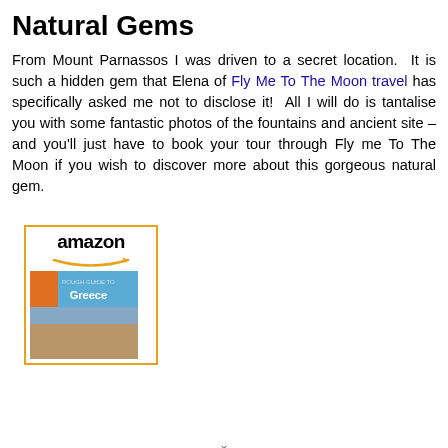Natural Gems
From Mount Parnassos I was driven to a secret location. It is such a hidden gem that Elena of Fly Me To The Moon travel has specifically asked me not to disclose it! All I will do is tantalise you with some fantastic photos of the fountains and ancient site – and you'll just have to book your tour through Fly me To The Moon if you wish to discover more about this gorgeous natural gem.
[Figure (other): Amazon product widget showing a book about Greece with Amazon logo and orange arrow, and a blue book cover with photo of ancient ruins labeled 'Greece']